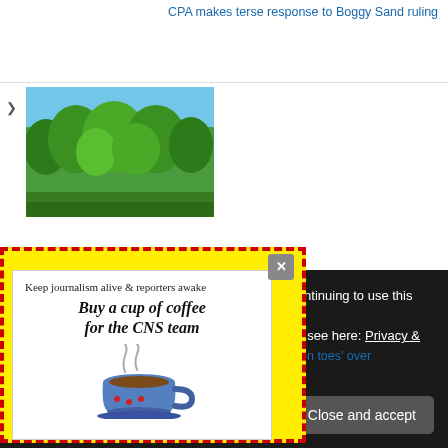CPA makes terse response to Boggy Sand ruling
[Figure (photo): Photo of tropical trees/jungle canopy with blue sky]
[Figure (other): Yellow dashed-border popup with close X button containing donation message]
Keep journalism alive & reporters awake
Buy a cup of coffee for the CNS team
[Figure (illustration): Illustration of a blue coffee cup with steam]
on toes' over
Privacy & Cookies: This site uses cookies. By continuing to use this website, you agree to their use.
To find out more, including how to control cookies, see here: Privacy & Cookie Policy
Close and accept